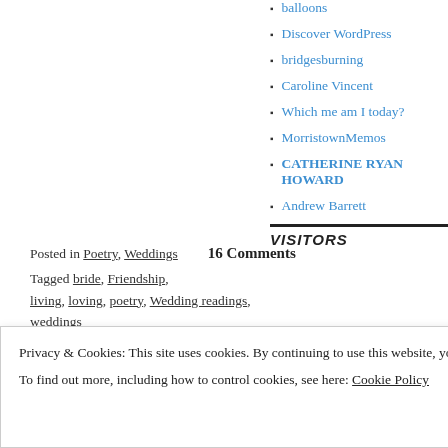balloons
Discover WordPress
bridgesburning
Caroline Vincent
Which me am I today?
MorristownMemos
CATHERINE RYAN HOWARD
Andrew Barrett
Posted in Poetry, Weddings   16 Comments
Tagged bride, Friendship, living, loving, poetry, Wedding readings, weddings
VISITORS
Privacy & Cookies: This site uses cookies. By continuing to use this website, you agree to their use.
To find out more, including how to control cookies, see here: Cookie Policy
Close and accept